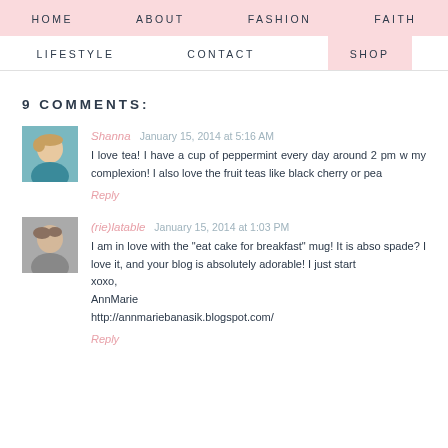HOME  ABOUT  FASHION  FAITH
LIFESTYLE  CONTACT  SHOP
9 COMMENTS:
Shanna  January 15, 2014 at 5:16 AM
I love tea! I have a cup of peppermint every day around 2 pm w... my complexion! I also love the fruit teas like black cherry or pea...
Reply
(rie)latable  January 15, 2014 at 1:03 PM
I am in love with the "eat cake for breakfast" mug! It is abso... spade? I love it, and your blog is absolutely adorable! I just start...
xoxo,
AnnMarie
http://annmariebanasik.blogspot.com/
Reply